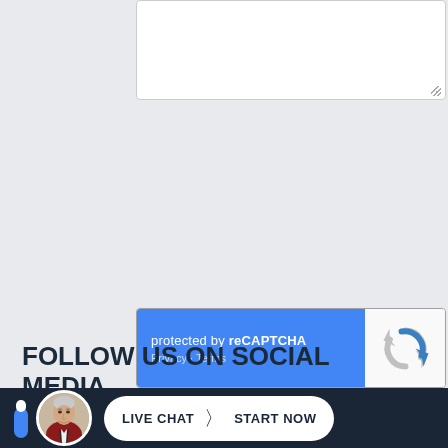[Figure (screenshot): Text area input box with resize handle]
[Figure (screenshot): reCAPTCHA widget with blue left panel showing 'protected by reCAPTCHA' and 'Privacy · Terms', and white right panel with reCAPTCHA logo]
[Figure (screenshot): Blue SUBMIT button]
FOLLOW US ON SOCIAL MEDIA
[Figure (screenshot): Bottom dark bar with circular avatar of an older man and a white live chat button reading 'LIVE CHAT › START NOW']